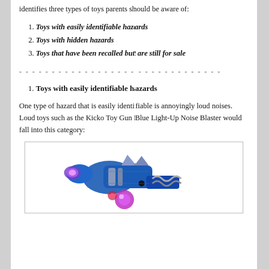identifies three types of toys parents should be aware of:
Toys with easily identifiable hazards
Toys with hidden hazards
Toys that have been recalled but are still for sale
--------------------------------
Toys with easily identifiable hazards
One type of hazard that is easily identifiable is annoyingly loud noises. Loud toys such as the Kicko Toy Gun Blue Light-Up Noise Blaster would fall into this category:
[Figure (photo): Photo of a blue toy gun with light-up features — the Kicko Toy Gun Blue Light-Up Noise Blaster, shown at an angle with glowing purple/pink lights and blue metallic body with a coiled spring handle.]